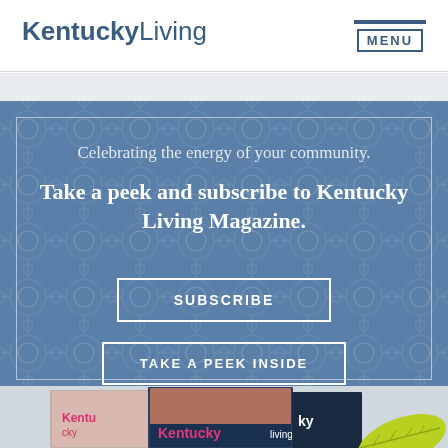KentuckyLiving | MENU
Celebrating the energy of your community.
Take a peek and subscribe to Kentucky Living Magazine.
SUBSCRIBE
TAKE A PEEK INSIDE
[Figure (photo): Stacked Kentucky Living magazine covers shown at the bottom of the page, with a green leaf graphic in the lower right corner.]